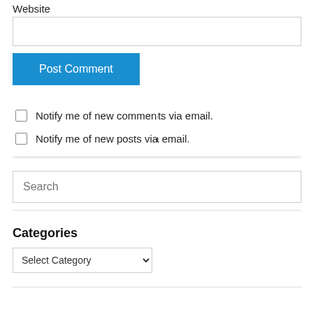Website
[input box - Website]
Post Comment
Notify me of new comments via email.
Notify me of new posts via email.
Search
Categories
Select Category